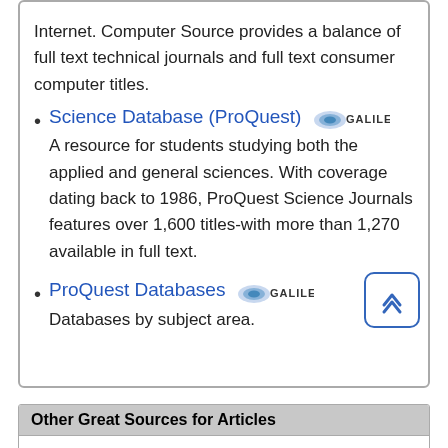Internet. Computer Source provides a balance of full text technical journals and full text consumer computer titles.
Science Database (ProQuest) — A resource for students studying both the applied and general sciences. With coverage dating back to 1986, ProQuest Science Journals features over 1,600 titles-with more than 1,270 available in full text.
ProQuest Databases — Databases by subject area.
Other Great Sources for Articles
ABI/INFORM Collection — Major source for academic journals, trade